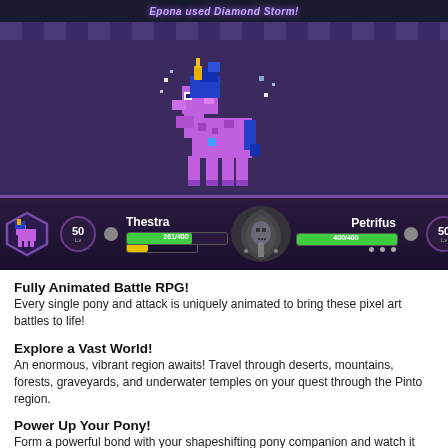[Figure (screenshot): A pixel art battle RPG game screenshot showing a purple animated pony (Thestra, Lv 50, HP 261/400) facing Petrifus (Lv 50, HP 400/400). The battle scene has a dark purple background with a game HUD at the bottom showing character stats and health bars. Top bar reads 'Epona used Diamond Storm!']
Fully Animated Battle RPG!
Every single pony and attack is uniquely animated to bring these pixel art battles to life!
Explore a Vast World!
An enormous, vibrant region awaits! Travel through deserts, mountains, forests, graveyards, and underwater temples on your quest through the Pinto region.
Power Up Your Pony!
Form a powerful bond with your shapeshifting pony companion and watch it grow stronger, learn awesome new moves, and take on the toughest of enemies.